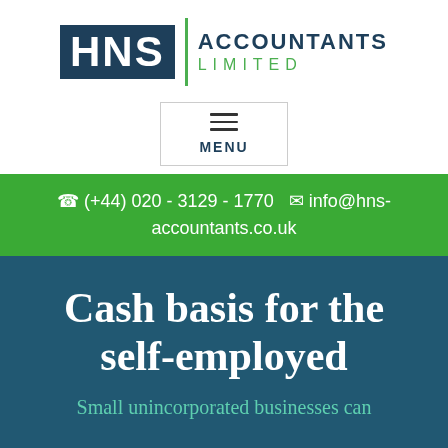[Figure (logo): HNS Accountants Limited logo with dark blue block letters HNS and green vertical divider, with ACCOUNTANTS LIMITED text in dark blue and green]
[Figure (infographic): Menu button with hamburger icon and MENU text]
(+44) 020 - 3129 - 1770  info@hns-accountants.co.uk
Cash basis for the self-employed
Small unincorporated businesses can